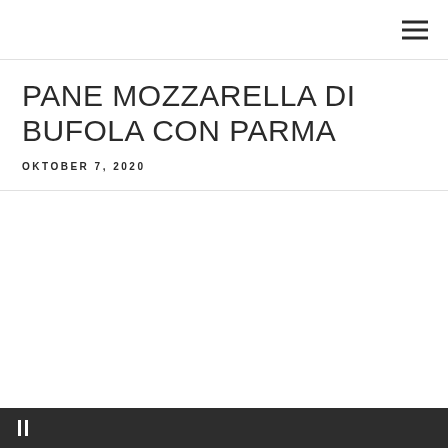PANE MOZZARELLA DI BUFOLA CON PARMA
OKTOBER 7, 2020